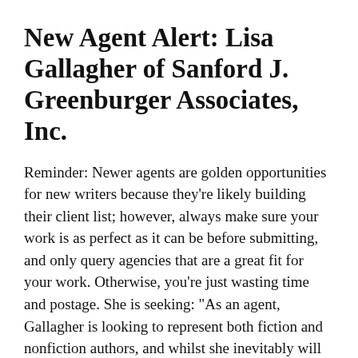New Agent Alert: Lisa Gallagher of Sanford J. Greenburger Associates, Inc.
Reminder: Newer agents are golden opportunities for new writers because they're likely building their client list; however, always make sure your work is as perfect as it can be before submitting, and only query agencies that are a great fit for your work. Otherwise, you're just wasting time and postage. She is seeking: "As an agent, Gallagher is looking to represent both fiction and nonfiction authors, and whilst she inevitably will be attracted to the same kinds of books she was passionate about as a